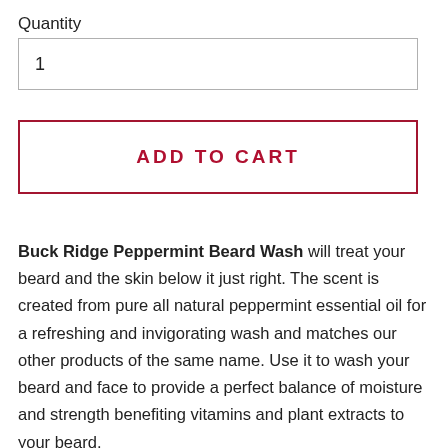Quantity
1
ADD TO CART
Buck Ridge Peppermint Beard Wash will treat your beard and the skin below it just right. The scent is created from pure all natural peppermint essential oil for a refreshing and invigorating wash and matches our other products of the same name. Use it to wash your beard and face to provide a perfect balance of moisture and strength benefiting vitamins and plant extracts to your beard.